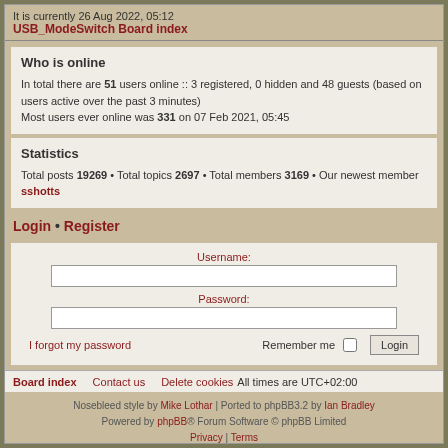It is currently 26 Aug 2022, 05:12
USB_ModeSwitch Board index
Who is online
In total there are 51 users online :: 3 registered, 0 hidden and 48 guests (based on users active over the past 3 minutes)
Most users ever online was 331 on 07 Feb 2021, 05:45
Statistics
Total posts 19269 • Total topics 2697 • Total members 3169 • Our newest member sshotts
Login • Register
Username:
Password:
I forgot my password
Remember me
Login
Board index   Contact us   Delete cookies   All times are UTC+02:00
Nosebleed style by Mike Lothar | Ported to phpBB3.2 by Ian Bradley
Powered by phpBB® Forum Software © phpBB Limited
Privacy | Terms